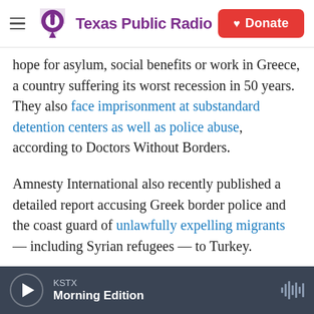Texas Public Radio | Donate
hope for asylum, social benefits or work in Greece, a country suffering its worst recession in 50 years. They also face imprisonment at substandard detention centers as well as police abuse, according to Doctors Without Borders.
Amnesty International also recently published a detailed report accusing Greek border police and the coast guard of unlawfully expelling migrants — including Syrian refugees — to Turkey.
So Syrians are trying to move on to Germany or Sweden to start new lives. Lulu wants to go to Sweden. Her former neighbor in Yarmouk, Hassan
KSTX
Morning Edition